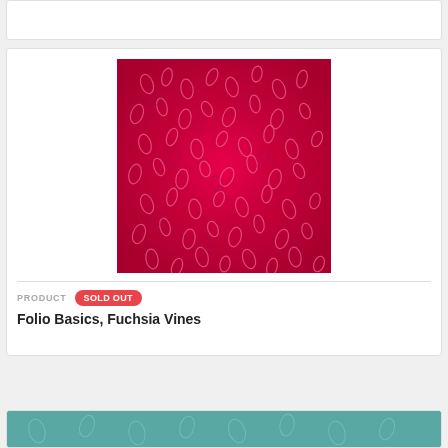[Figure (photo): Top partial card cut off at the top of the page, white background with partial text]
[Figure (photo): Red/fuchsia fabric with scattered leaf/petal patterns in lighter pink and purple tones, batik style textile]
PRODUCT   SOLD OUT
Folio Basics, Fuchsia Vines
[Figure (photo): Partial teal/green fabric image visible at the very bottom of the page]